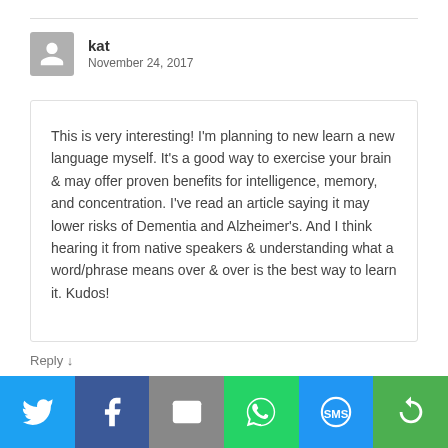kat
November 24, 2017
This is very interesting! I'm planning to new learn a new language myself. It's a good way to exercise your brain & may offer proven benefits for intelligence, memory, and concentration. I've read an article saying it may lower risks of Dementia and Alzheimer's. And I think hearing it from native speakers & understanding what a word/phrase means over & over is the best way to learn it. Kudos!
Reply ↓
[Figure (infographic): Social sharing bar with Twitter, Facebook, Email, WhatsApp, SMS, and a share button icons on colored backgrounds]